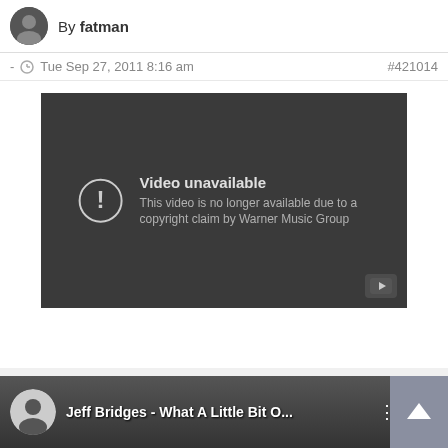By fatman
- Tue Sep 27, 2011 8:16 am   #421014
[Figure (screenshot): Embedded YouTube video player showing error message: 'Video unavailable — This video is no longer available due to a copyright claim by Warner Music Group']
[Figure (screenshot): Bottom portion of a YouTube video thumbnail showing 'Jeff Bridges - What A Little Bit O...' with a user avatar and options button]